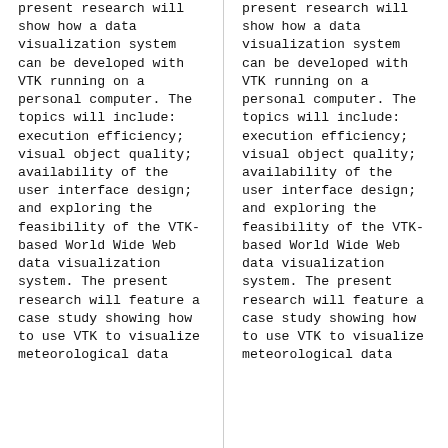present research will show how a data visualization system can be developed with VTK running on a personal computer. The topics will include: execution efficiency; visual object quality; availability of the user interface design; and exploring the feasibility of the VTK-based World Wide Web data visualization system. The present research will feature a case study showing how to use VTK to visualize meteorological data
present research will show how a data visualization system can be developed with VTK running on a personal computer. The topics will include: execution efficiency; visual object quality; availability of the user interface design; and exploring the feasibility of the VTK-based World Wide Web data visualization system. The present research will feature a case study showing how to use VTK to visualize meteorological data